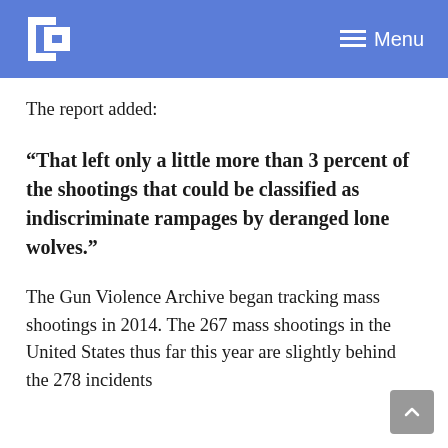ET Menu
The report added:
“That left only a little more than 3 percent of the shootings that could be classified as indiscriminate rampages by deranged lone wolves.”
The Gun Violence Archive began tracking mass shootings in 2014. The 267 mass shootings in the United States thus far this year are slightly behind the 278 incidents